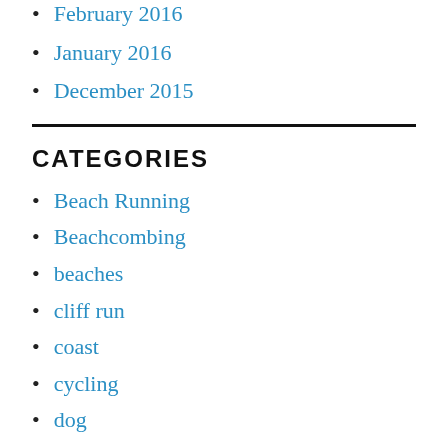February 2016
January 2016
December 2015
CATEGORIES
Beach Running
Beachcombing
beaches
cliff run
coast
cycling
dog
driftwood
Events